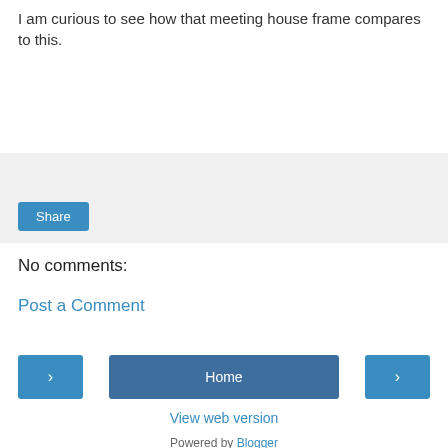I am curious to see how that meeting house frame compares to this.
[Figure (other): Share button widget area with light gray background]
No comments:
Post a Comment
[Figure (other): Navigation row with previous arrow button, Home button, and next arrow button]
View web version
Powered by Blogger